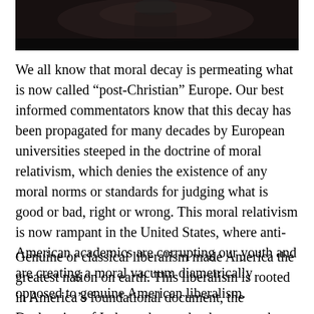[Figure (photo): Dark photograph of a person, partially visible at the top of the page]
We all know that moral decay is permeating what is now called “post-Christian” Europe. Our best informed commentators know that this decay has been propagated for many decades by European universities steeped in the doctrine of moral relativism, which denies the existence of any moral norms or standards for judging what is good or bad, right or wrong. This moral relativism is now rampant in the United States, where anti-American academics are corrupting our youth and are creating a moral vacuum diametrically opposed to genuine American liberalism.
Genuine or classical liberalism made America the greatest nation on earth. This liberalism is rooted in America’s foundational document, the Declaration of Independence, the document that derives morality not